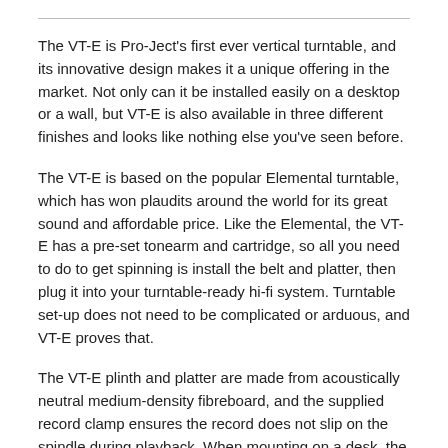The VT-E is Pro-Ject's first ever vertical turntable, and its innovative design makes it a unique offering in the market. Not only can it be installed easily on a desktop or a wall, but VT-E is also available in three different finishes and looks like nothing else you've seen before.
The VT-E is based on the popular Elemental turntable, which has won plaudits around the world for its great sound and affordable price. Like the Elemental, the VT-E has a pre-set tonearm and cartridge, so all you need to do to get spinning is install the belt and platter, then plug it into your turntable-ready hi-fi system. Turntable set-up does not need to be complicated or arduous, and VT-E proves that.
The VT-E plinth and platter are made from acoustically neutral medium-density fibreboard, and the supplied record clamp ensures the record does not slip on the spindle during playback. When mounting on a desk, the supplied feet and back-support create a sturdy tripod that isolates well from external vibrations. Alternatively when mounting on a wall the supplied mounting kit ensures a reliable fixing to the wall's surface.
The VT-E's motor is the same proven design as found in other Pro-Ject turntables, and boasts a built-in AC generator for reliable speed